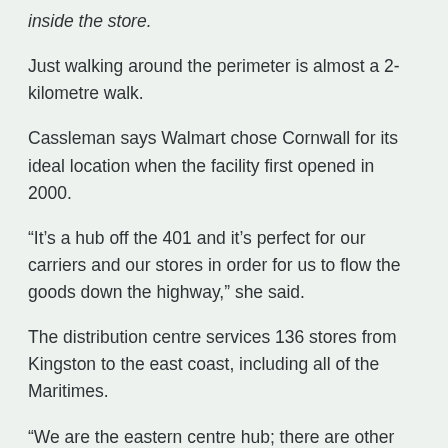inside the store.
Just walking around the perimeter is almost a 2-kilometre walk.
Cassleman says Walmart chose Cornwall for its ideal location when the facility first opened in 2000.
“It’s a hub off the 401 and it’s perfect for our carriers and our stores in order for us to flow the goods down the highway,” she said.
The distribution centre services 136 stores from Kingston to the east coast, including all of the Maritimes.
“We are the eastern centre hub; there are other distribution centres in Canada but we service half of Ontario and all of Quebec and the east coast from Cornwall,” Cassleman